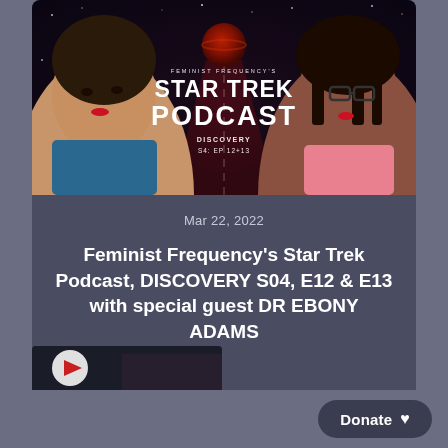[Figure (photo): Podcast cover art showing two women flanking a stylized 'Feminist Frequency's Star Trek Podcast - Discovery S4: EP 12+13' title card against a dark space background with a red planet]
Mar 22, 2022
Feminist Frequency's Star Trek Podcast, DISCOVERY S04, E12 & E13 with special guest DR EBONY ADAMS
[Figure (photo): Partial view of a second podcast episode card or image at the bottom of the page]